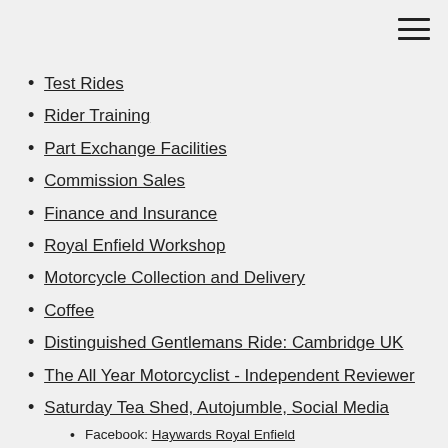Test Rides
Rider Training
Part Exchange Facilities
Commission Sales
Finance and Insurance
Royal Enfield Workshop
Motorcycle Collection and Delivery
Coffee
Distinguished Gentlemans Ride: Cambridge UK
The All Year Motorcyclist - Independent Reviewer
Saturday Tea Shed, Autojumble, Social Media
Facebook: Haywards Royal Enfield
Google Maps: Haywards Royal Enfield Cambridge